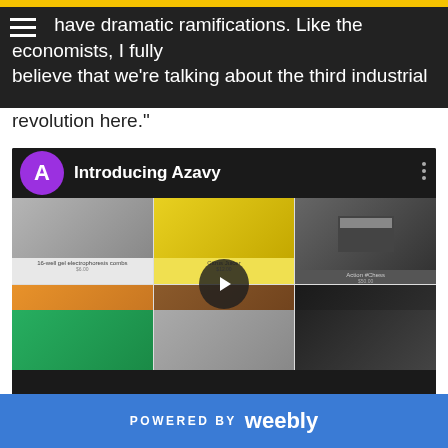have dramatic ramifications. Like the economists, I fully believe that we're talking about the third industrial revolution here."
[Figure (screenshot): YouTube-style video embed showing 'Introducing Azavy' with a purple A icon, grid of 3D printed products including Charcoal, Brown Bear (Ursus arctos), Fractal Shot Glass, Citrus Juicer, Action Chess, and others, with a play button overlay.]
Azavy was born in Providence in a time ripe for such
POWERED BY weebly